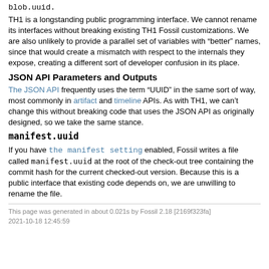blob.uuid.
TH1 is a longstanding public programming interface. We cannot rename its interfaces without breaking existing TH1 Fossil customizations. We are also unlikely to provide a parallel set of variables with “better” names, since that would create a mismatch with respect to the internals they expose, creating a different sort of developer confusion in its place.
JSON API Parameters and Outputs
The JSON API frequently uses the term “UUID” in the same sort of way, most commonly in artifact and timeline APIs. As with TH1, we can’t change this without breaking code that uses the JSON API as originally designed, so we take the same stance.
manifest.uuid
If you have the manifest setting enabled, Fossil writes a file called manifest.uuid at the root of the check-out tree containing the commit hash for the current checked-out version. Because this is a public interface that existing code depends on, we are unwilling to rename the file.
This page was generated in about 0.021s by Fossil 2.18 [2169f323fa] 2021-10-18 12:45:59